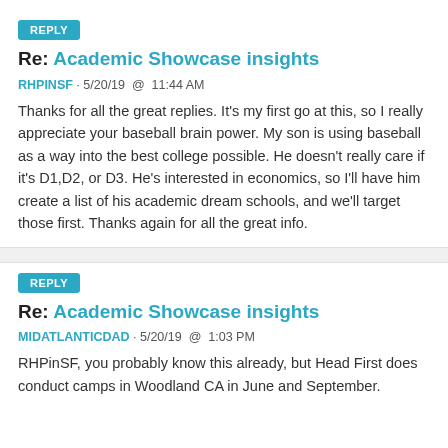REPLY
Re: Academic Showcase insights
RHPINSF · 5/20/19  @  11:44 AM
Thanks for all the great replies. It's my first go at this, so I really appreciate your baseball brain power. My son is using baseball as a way into the best college possible. He doesn't really care if it's D1,D2, or D3. He's interested in economics, so I'll have him create a list of his academic dream schools, and we'll target those first. Thanks again for all the great info.
REPLY
Re: Academic Showcase insights
MIDATLANTICDAD · 5/20/19  @  1:03 PM
RHPinSF, you probably know this already, but Head First does conduct camps in Woodland CA in June and September.